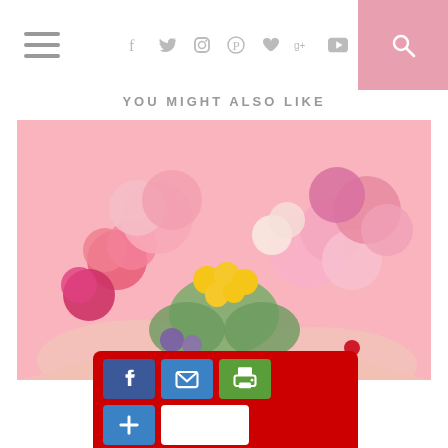≡  f  twitter  instagram  pinterest  ♥  g+  youtube  🔍
YOU MIGHT ALSO LIKE
[Figure (photo): Heart-shaped arrangement of pink, yellow, and purple flowers held by hands with pink manicured nails, on a pink background]
[Figure (infographic): Social sharing bar with Facebook, email, print buttons, plus button and white placeholder box, on red background]